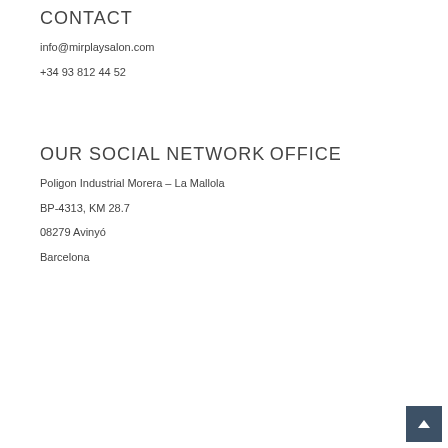CONTACT
info@mirplaysalon.com
+34 93 812 44 52
OUR SOCIAL NETWORK
OFFICE
Poligon Industrial Morera – La Mallola
BP-4313, KM 28.7
08279 Avinyó
Barcelona